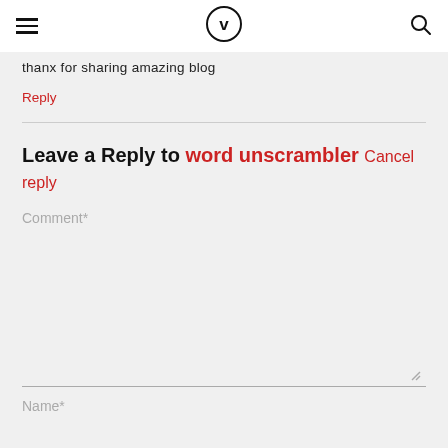V (logo) navigation header with hamburger menu and search icon
thanx for sharing amazing blog
Reply
Leave a Reply to word unscrambler Cancel reply
Comment*
Name*